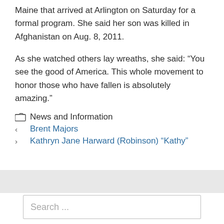Maine that arrived at Arlington on Saturday for a formal program. She said her son was killed in Afghanistan on Aug. 8, 2011.
As she watched others lay wreaths, she said: “You see the good of America. This whole movement to honor those who have fallen is absolutely amazing.”
News and Information
Brent Majors
Kathryn Jane Harward (Robinson) “Kathy”